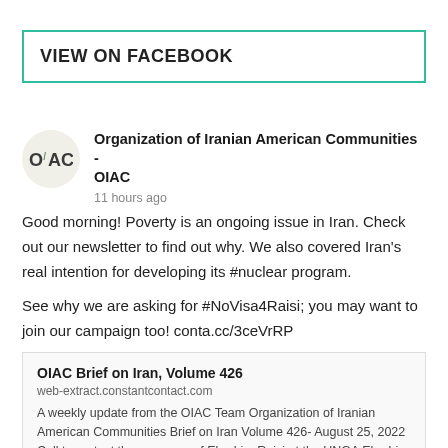VIEW ON FACEBOOK
Organization of Iranian American Communities - OIAC
11 hours ago
Good morning! Poverty is an ongoing issue in Iran. Check out our newsletter to find out why. We also covered Iran's real intention for developing its #nuclear program.

See why we are asking for #NoVisa4Raisi; you may want to join our campaign too! conta.cc/3ceVrRP
OIAC Brief on Iran, Volume 426
web-extract.constantcontact.com
A weekly update from the OIAC Team Organization of Iranian American Communities Brief on Iran Volume 426- August 25, 2022 Call to protest the presence of Ebrahim Raisi at the UNGA Ebrahim Raisi should